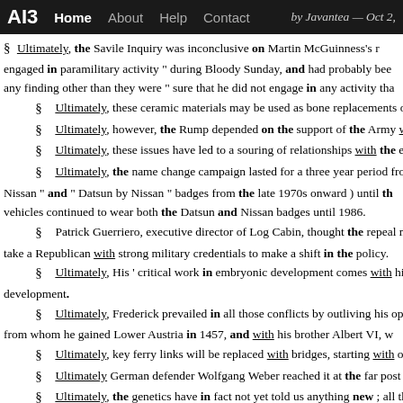AI3  Home  About  Help  Contact  by Javantea — Oct 2,
§ Ultimately, the Savile Inquiry was inconclusive on Martin McGuinness's [role] engaged in paramilitary activity " during Bloody Sunday, and had probably bee any finding other than they were " sure that he did not engage in any activity tha
§ Ultimately, these ceramic materials may be used as bone replacements or w
§ Ultimately, however, the Rump depended on the support of the Army with
§ Ultimately, these issues have led to a souring of relationships with the erst
§ Ultimately, the name change campaign lasted for a three year period from Nissan " and " Datsun by Nissan " badges from the late 1970s onward ) until th vehicles continued to wear both the Datsun and Nissan badges until 1986.
§ Patrick Guerriero, executive director of Log Cabin, thought the repeal mov take a Republican with strong military credentials to make a shift in the policy.
§ Ultimately, His ' critical work in embryonic development comes with his p development.
§ Ultimately, Frederick prevailed in all those conflicts by outliving his oppor from whom he gained Lower Austria in 1457, and with his brother Albert VI, w
§ Ultimately, key ferry links will be replaced with bridges, starting with one
§ Ultimately German defender Wolfgang Weber reached it at the far post and
§ Ultimately, the genetics have in fact not yet told us anything new ; all these identify historical population movements with genetics.
§ Ultimately the project failed to produce a functional robot control system,
§ " Ultimately, however, Kennedy made her choice based on her personal co